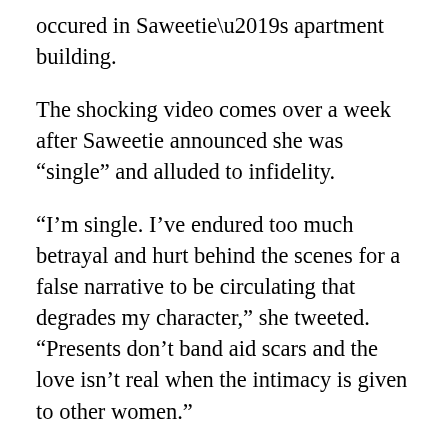occured in Saweetie’s apartment building.
The shocking video comes over a week after Saweetie announced she was “single” and alluded to infidelity.
“I’m single. I’ve endured too much betrayal and hurt behind the scenes for a false narrative to be circulating that degrades my character,” she tweeted. “Presents don’t band aid scars and the love isn’t real when the intimacy is given to other women.”
Twitter reactions to the video are divided: